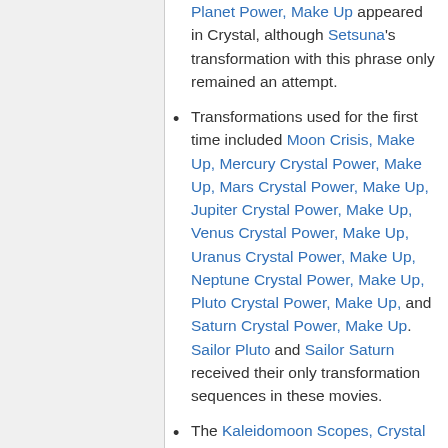Planet Power, Make Up appeared in Crystal, although Setsuna's transformation with this phrase only remained an attempt.
Transformations used for the first time included Moon Crisis, Make Up, Mercury Crystal Power, Make Up, Mars Crystal Power, Make Up, Jupiter Crystal Power, Make Up, Venus Crystal Power, Make Up, Uranus Crystal Power, Make Up, Neptune Crystal Power, Make Up, Pluto Crystal Power, Make Up, and Saturn Crystal Power, Make Up. Sailor Pluto and Sailor Saturn received their only transformation sequences in these movies.
The Kaleidomoon Scopes, Crystal Carillon, Mercury Harp,